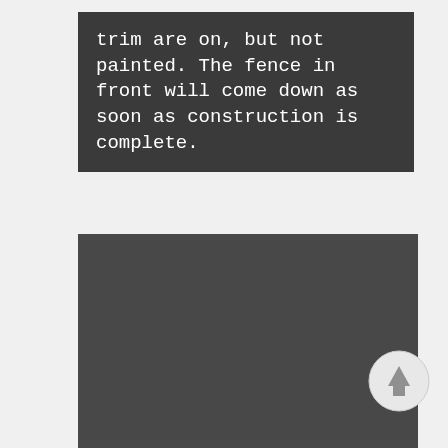trim are on, but not painted. The fence in front will come down as soon as construction is complete.
[Figure (photo): A dark, mostly solid dark gray/charcoal rectangular photo placeholder area, representing a construction or building exterior scene.]